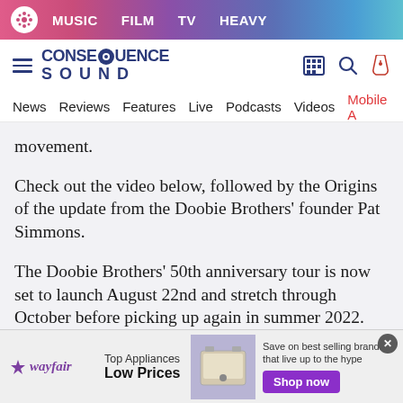MUSIC  FILM  TV  HEAVY
[Figure (logo): Consequence Sound logo with navigation icons (hamburger menu, sound/building icon, search icon, tag icon)]
News  Reviews  Features  Live  Podcasts  Videos  Mobile A
movement.
Check out the video below, followed by the Origins of the update from the Doobie Brothers' founder Pat Simmons.
The Doobie Brothers' 50th anniversary tour is now set to launch August 22nd and stretch through October before picking up again in summer 2022. You can find the complete
[Figure (screenshot): Wayfair advertisement banner: Top Appliances Low Prices, Save on best selling brands that live up to the hype, Shop now button]